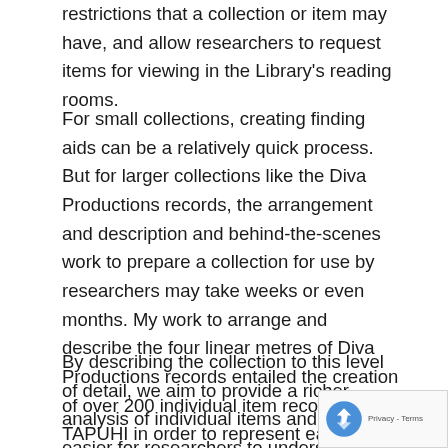restrictions that a collection or item may have, and allow researchers to request items for viewing in the Library's reading rooms.
For small collections, creating finding aids can be a relatively quick process. But for larger collections like the Diva Productions records, the arrangement and description and behind-the-scenes work to prepare a collection for use by researchers may take weeks or even months. My work to arrange and describe the four linear metres of Diva Productions records entailed the creation of over 200 individual item records on TAPUHI in order to represent each individual folder of materials in the collection.
By describing the collection to this level of detail, we aim to provide a richer analysis of individual items and make it easier for researchers to understand exactly what a particular unpublished collection contains.